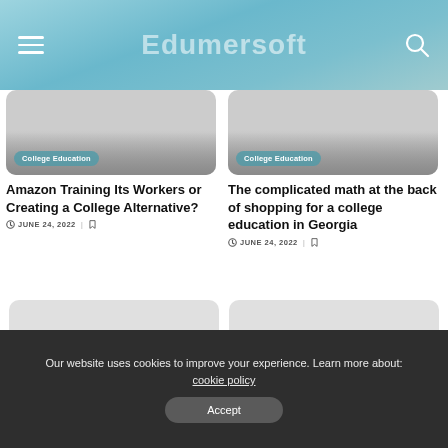Edumersoft
[Figure (screenshot): Article card image for 'Amazon Training Its Workers or Creating a College Alternative?' with College Education badge]
Amazon Training Its Workers or Creating a College Alternative?
JUNE 24, 2022
[Figure (screenshot): Article card image for 'The complicated math at the back of shopping for a college education in Georgia' with College Education badge]
The complicated math at the back of shopping for a college education in Georgia
JUNE 24, 2022
[Figure (photo): Article card image placeholder (bottom left)]
[Figure (photo): Article card image placeholder (bottom right)]
Our website uses cookies to improve your experience. Learn more about: cookie policy
Accept